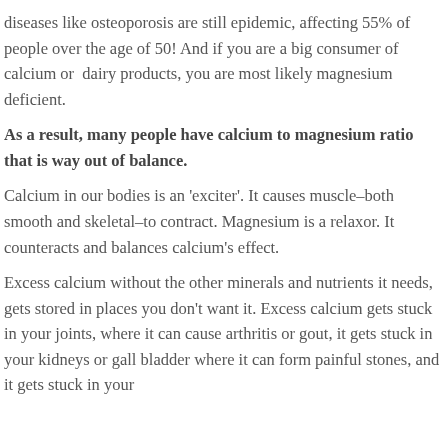diseases like osteoporosis are still epidemic, affecting 55% of people over the age of 50! And if you are a big consumer of calcium or dairy products, you are most likely magnesium deficient.
As a result, many people have calcium to magnesium ratio that is way out of balance.
Calcium in our bodies is an 'exciter'. It causes muscle–both smooth and skeletal–to contract. Magnesium is a relaxor. It counteracts and balances calcium's effect.
Excess calcium without the other minerals and nutrients it needs, gets stored in places you don't want it. Excess calcium gets stuck in your joints, where it can cause arthritis or gout, it gets stuck in your kidneys or gall bladder where it can form painful stones, and it gets stuck in your